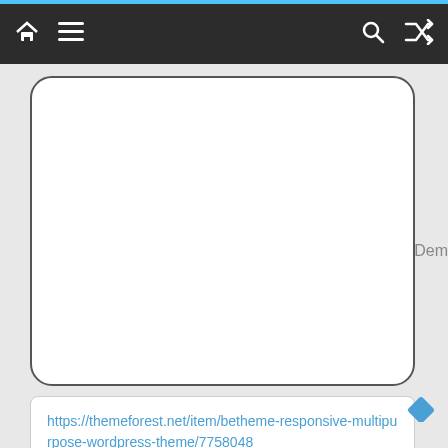[Figure (screenshot): Mobile website navigation bar with dark background showing home icon, hamburger menu, search icon, and shuffle icon in white on dark background]
[Figure (screenshot): Large white rounded rectangle card element, empty content area]
https://themeforest.net/item/betheme-responsive-multipurpose-wordpress-theme/7758048
[Figure (screenshot): Partially visible white rounded rectangle card at bottom of page with blue bookmark/diamond icon]